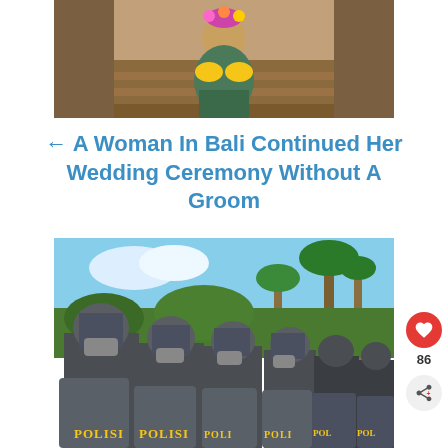[Figure (photo): A woman in traditional Balinese dress sitting on stone temple steps holding yellow flowers, with ancient stone architecture behind her.]
← A Woman In Bali Continued Her Wedding Ceremony Without A Groom
[Figure (photo): Indonesian police officers in riot gear (helmets, face masks, shields) lined up in formation in front of palm trees. Shields marked 'POLISI'.]